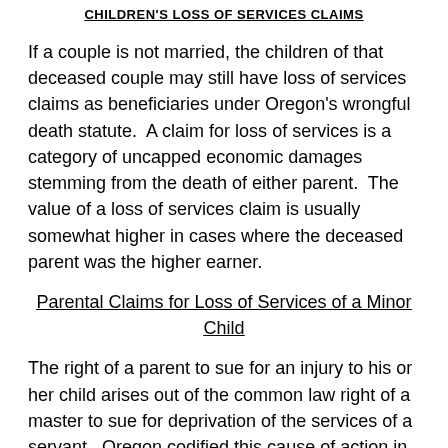CHILDREN'S LOSS OF SERVICES CLAIMS
If a couple is not married, the children of that deceased couple may still have loss of services claims as beneficiaries under Oregon's wrongful death statute.  A claim for loss of services is a category of uncapped economic damages stemming from the death of either parent.  The value of a loss of services claim is usually somewhat higher in cases where the deceased parent was the higher earner.
Parental Claims for Loss of Services of a Minor Child
The right of a parent to sue for an injury to his or her child arises out of the common law right of a master to sue for deprivation of the services of a servant.  Oregon codified this cause of action in ORS 30.010(1), which provides that: “A parent having custody of his or her child may maintain an action for the injury of the child.”
A claim for loss of services of a minor child is different th...